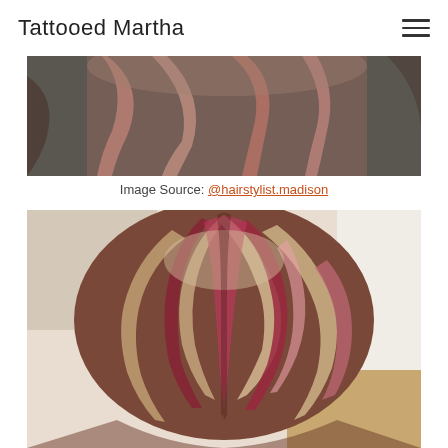Tattooed Martha
[Figure (photo): Close-up of hair with rose gold/pink highlights over dark background, showing the back of a person's head with wavy highlighted hair]
Image Source: @hairstylist.madison
[Figure (photo): Back view of a bob haircut with red and blonde highlights on brunette hair, vibrant color with pink/magenta streaks visible]